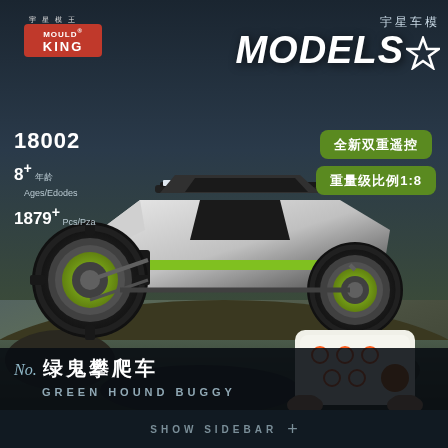[Figure (photo): Mould King product box art showing a black and white off-road RC buggy (Green Hound Buggy) with green wheel accents, model 18002, driving through dirt terrain. Includes smartphone app control interface shown in bottom right corner.]
MOULD KING 宇星模王
MODELS★ 宇星车模
18002
8+ 年龄 Ages/Edodes
1879+ Pcs/Pza
全新双重遥控
重量级比例1:8
No. 绿鬼攀爬车 GREEN HOUND BUGGY
SHOW SIDEBAR +